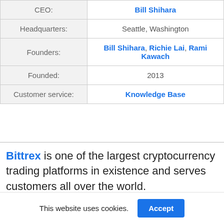| Field | Value |
| --- | --- |
| CEO: | Bill Shihara |
| Headquarters: | Seattle, Washington |
| Founders: | Bill Shihara, Richie Lai, Rami Kawach |
| Founded: | 2013 |
| Customer service: | Knowledge Base |
Bittrex is one of the largest cryptocurrency trading platforms in existence and serves customers all over the world.
This website uses cookies.